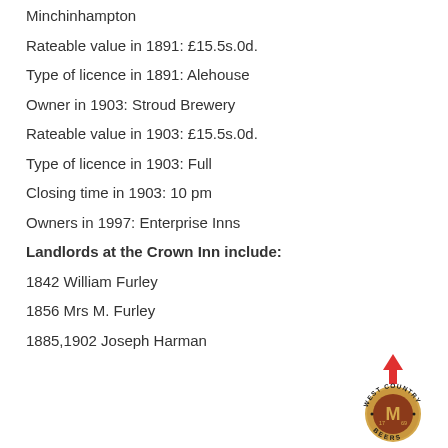Minchinhampton
Rateable value in 1891: £15.5s.0d.
Type of licence in 1891: Alehouse
Owner in 1903: Stroud Brewery
Rateable value in 1903: £15.5s.0d.
Type of licence in 1903: Full
Closing time in 1903: 10 pm
Owners in 1997: Enterprise Inns
Landlords at the Crown Inn include:
1842 William Furley
1856 Mrs M. Furley
1885,1902 Joseph Harman
[Figure (logo): West Country Beers circular logo with red arrow pointing up]